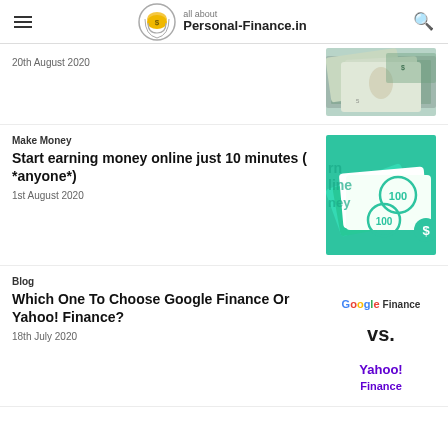all about Personal-Finance.in
20th August 2020
[Figure (photo): US dollar bills and coins spread out]
Make Money
Start earning money online just 10 minutes ( *anyone*)
1st August 2020
[Figure (illustration): Green background with $100 dollar bill illustrations and text reading 'earn online money']
Blog
Which One To Choose Google Finance Or Yahoo! Finance?
18th July 2020
[Figure (illustration): Google Finance vs. Yahoo! Finance logo comparison graphic]